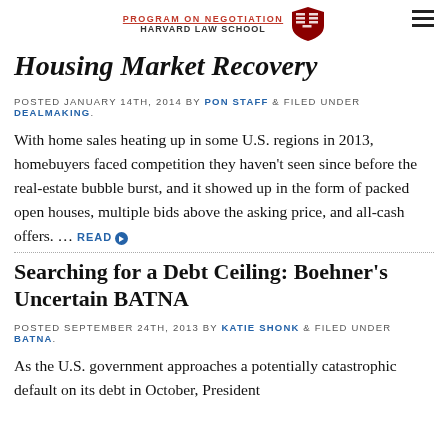PROGRAM ON NEGOTIATION — HARVARD LAW SCHOOL
Housing Market Recovery
POSTED JANUARY 14TH, 2014 BY PON STAFF & FILED UNDER DEALMAKING.
With home sales heating up in some U.S. regions in 2013, homebuyers faced competition they haven't seen since before the real-estate bubble burst, and it showed up in the form of packed open houses, multiple bids above the asking price, and all-cash offers. … READ
Searching for a Debt Ceiling: Boehner's Uncertain BATNA
POSTED SEPTEMBER 24TH, 2013 BY KATIE SHONK & FILED UNDER BATNA.
As the U.S. government approaches a potentially catastrophic default on its debt in October, President